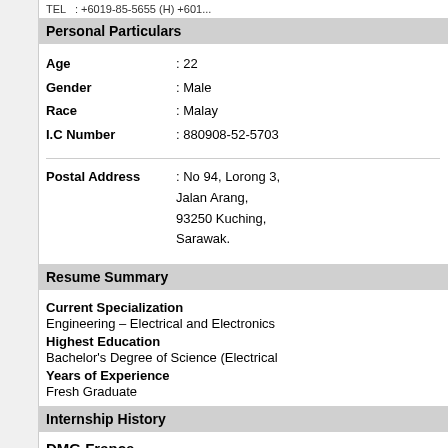TEL : +6019-85-5655 (H) +601...
Personal Particulars
Age : 22
Gender : Male
Race : Malay
I.C Number : 880908-52-5703
Postal Address : No 94, Lorong 3, Jalan Arang, 93250 Kuching, Sarawak.
Resume Summary
Current Specialization
Engineering – Electrical and Electronics
Highest Education
Bachelor's Degree of Science (Electrical
Years of Experience
Fresh Graduate
Internship History
DMG France